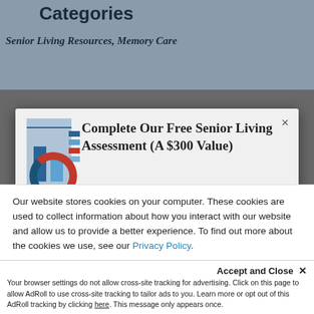Categories
Senior Living Resources, Memory Care
[Figure (screenshot): Modal dialog: Complete Our Free Senior Living Assessment (A $300 Value) with a small chart image thumbnail and green CTA button 'Complete our Complimentary Assessment' with accessibility icon]
Our website stores cookies on your computer. These cookies are used to collect information about how you interact with our website and allow us to provide a better experience. To find out more about the cookies we use, see our Privacy Policy.
Accept and Close ×
Your browser settings do not allow cross-site tracking for advertising. Click on this page to allow AdRoll to use cross-site tracking to tailor ads to you. Learn more or opt out of this AdRoll tracking by clicking here. This message only appears once.